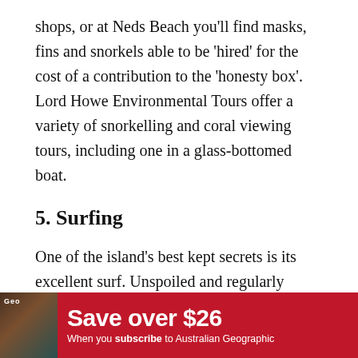shops, or at Neds Beach you'll find masks, fins and snorkels able to be 'hired' for the cost of a contribution to the 'honesty box'. Lord Howe Environmental Tours offer a variety of snorkelling and coral viewing tours, including one in a glass-bottomed boat.
5. Surfing
One of the island's best kept secrets is its excellent surf. Unspoiled and regularly deserted, there are 10 beach and reef breaks across the east and west sides of the island. Blinky Beach has been locally dubbed 'Champagne Surf', and is your best bet at good surf close to the island's shore, while in the right condi[tions] also offer [a] roof
[Figure (other): Red advertisement banner: 'Save over $26 — When you subscribe to Australian Geographic' with magazine cover image on left]